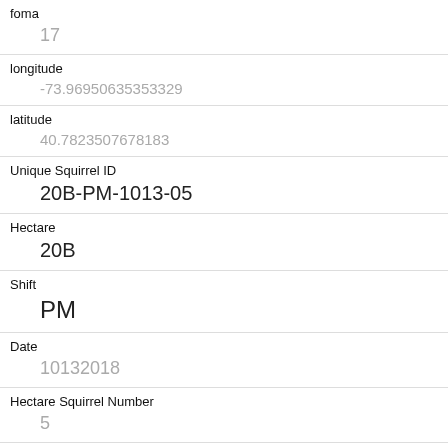| foma | 17 |
| longitude | -73.96950635353329 |
| latitude | 40.7823507678183 |
| Unique Squirrel ID | 20B-PM-1013-05 |
| Hectare | 20B |
| Shift | PM |
| Date | 10132018 |
| Hectare Squirrel Number | 5 |
| Age | Adult |
| Primary Fur Color | Gray |
| Highlight Fur Color |  |